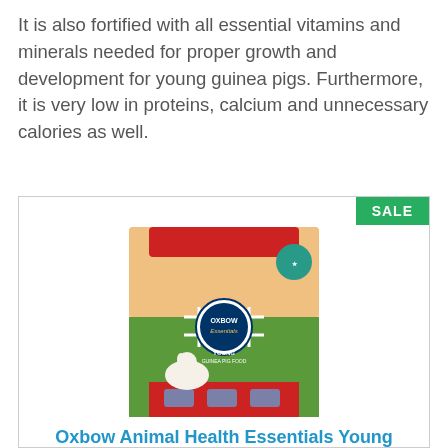It is also fortified with all essential vitamins and minerals needed for proper growth and development for young guinea pigs. Furthermore, it is very low in proteins, calcium and unnecessary calories as well.
[Figure (photo): Product card with SALE badge showing Oxbow Animal Health Essentials Young Guinea Pig Food 10 lb bag]
Oxbow Animal Health Essentials Young Guinea Pig Food - 10 lb